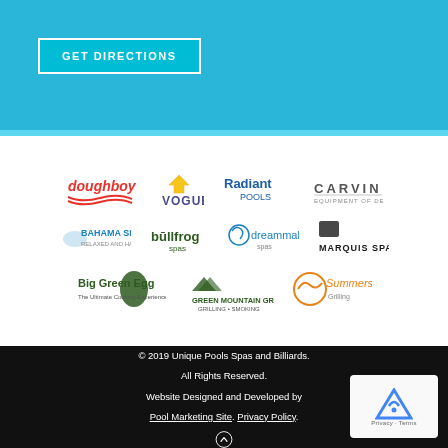GET DIRECTIONS
[Figure (logo): Brand logos grid: Doughboy, Vogue, Radiant Pools, Carvin, Bahama Spas, Bullfrog Spas, Dreammaker Spas, Marquis Spas, Big Green Egg, Green Mountain Grills, Summerset Grills]
© 2019 Unique Pools Spas and Billiards. All Rights Reserved. Website Designed and Developed by Pool Marketing Site. Privacy Policy.